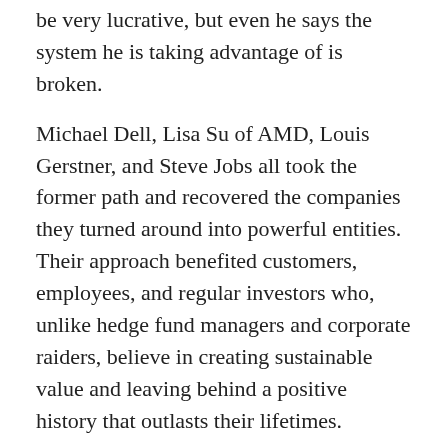be very lucrative, but even he says the system he is taking advantage of is broken.
Michael Dell, Lisa Su of AMD, Louis Gerstner, and Steve Jobs all took the former path and recovered the companies they turned around into powerful entities. Their approach benefited customers, employees, and regular investors who, unlike hedge fund managers and corporate raiders, believe in creating sustainable value and leaving behind a positive history that outlasts their lifetimes.
Ironically, in my own research, executives that focus tightly on monetary benefits exclusively tend to have few real friends, multiple marriages, and children who love their money more than they love them.
I remember talking to one of the legends of Silicon Valley who was extremely wealthy but complained of